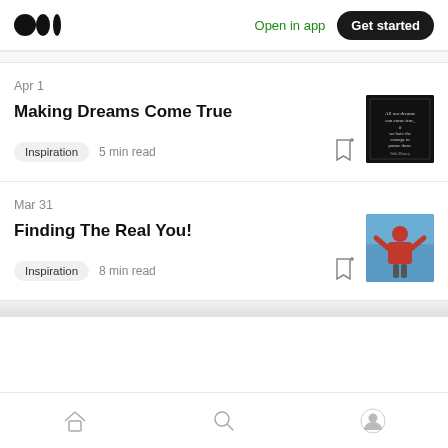Medium logo | Open in app | Get started
Apr 1
Making Dreams Come True
Inspiration  5 min read
[Figure (photo): Black background with white quote text about dreams]
Mar 31
Finding The Real You!
Inspiration  8 min read
[Figure (photo): Man in red sweater with arms raised against blue wall]
Home | Search | Profile